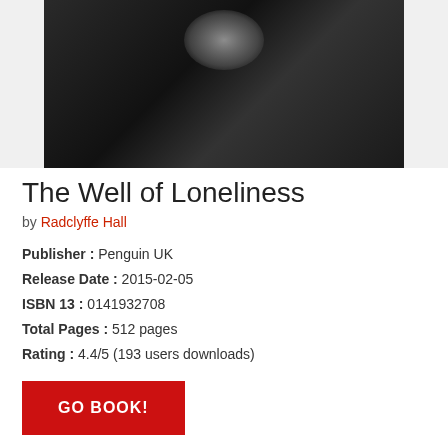[Figure (photo): Black and white photograph of a person, partially visible, cropped at top]
The Well of Loneliness
by Radclyffe Hall
Publisher : Penguin UK
Release Date : 2015-02-05
ISBN 13 : 0141932708
Total Pages : 512 pages
Rating : 4.4/5 (193 users downloads)
GO BOOK!
Last Book Review The Well of Loneliness by Radclyffe Hall :